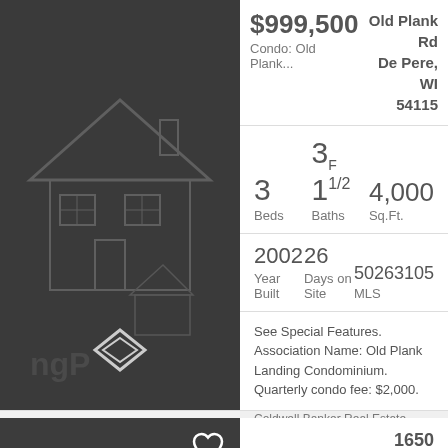$999,500
Condo: Old Plank...
Old Plank Rd
De Pere, WI
54115
3 Beds   3F 1½ Baths   4,000 Sq.Ft.
2002 Year Built   26 Days on Site   50263105 MLS
See Special Features. Association Name: Old Plank Landing Condominium. Quarterly condo fee: $2,000.
Coldwell Banker Real Estate Group
1650
Trinity
Ridge